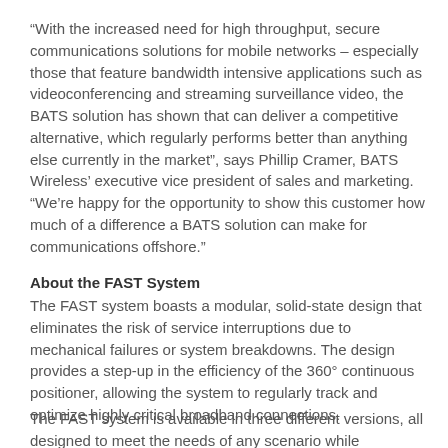“With the increased need for high throughput, secure communications solutions for mobile networks – especially those that feature bandwidth intensive applications such as videoconferencing and streaming surveillance video, the BATS solution has shown that can deliver a competitive alternative, which regularly performs better than anything else currently in the market”, says Phillip Cramer, BATS Wireless’ executive vice president of sales and marketing. “We’re happy for the opportunity to show this customer how much of a difference a BATS solution can make for communications offshore.”
About the FAST System
The FAST system boasts a modular, solid-state design that eliminates the risk of service interruptions due to mechanical failures or system breakdowns. The design provides a step-up in the efficiency of the 360° continuous positioner, allowing the system to regularly track and optimize highly critical broadband connections.
The FAST system is available in three different versions, all designed to meet the needs of any scenario while